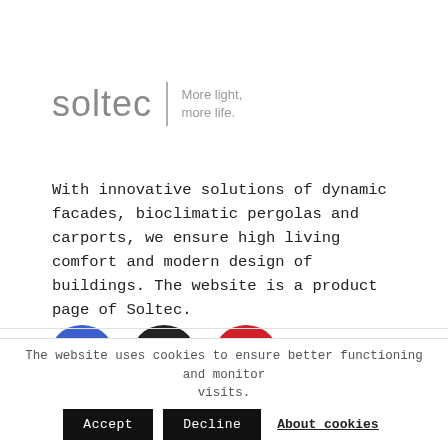[Figure (logo): Soltec logo with wordmark 'soltec' in grey and tagline 'More light, more life.' separated by a vertical divider line]
With innovative solutions of dynamic facades, bioclimatic pergolas and carports, we ensure high living comfort and modern design of buildings. The website is a product page of Soltec.
[Figure (other): Three social media icons: Facebook (blue circle), Instagram (dark circle), YouTube (red circle)]
Contact
The website uses cookies to ensure better functioning and monitor visits.
Accept  Decline  About cookies